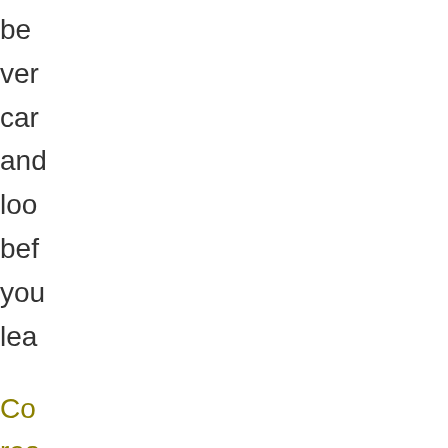be
ver
car
and
loo
bef
you
lea
Co
rea
"A:
in
Ma
20:
–
A
He
Ma
Co
Uri
Sq
Plu
Co
Do